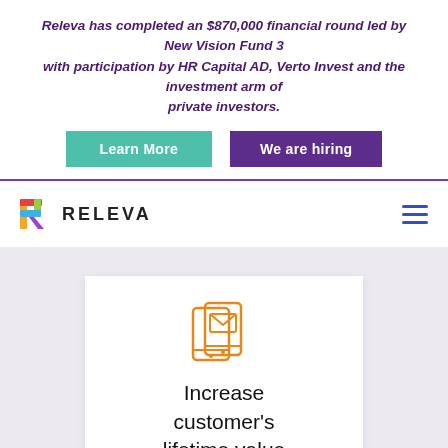Releva has completed an $870,000 financial round led by New Vision Fund 3 with participation by HR Capital AD, Verto Invest and the investment arm of private investors.
Learn More
We are hiring
[Figure (logo): Releva logo with colorful R icon and RELEVA wordmark]
[Figure (illustration): Orange outline icon of a mobile phone with an envelope/message overlay]
Increase customer's lifetime value